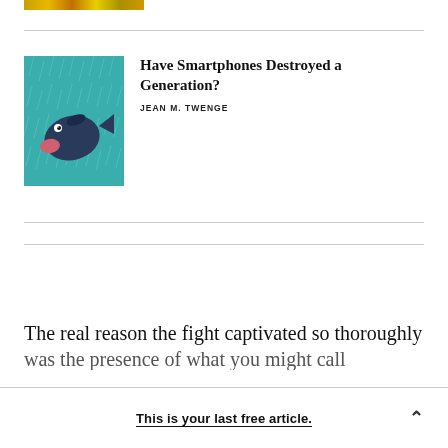[Figure (illustration): Colorful mosaic/strip image at top]
Have Smartphones Destroyed a Generation?
JEAN M. TWENGE
[Figure (illustration): Fish illustration on teal/blue rainy background]
The real reason the fight captivated so thoroughly was the presence of what you might call Murphy's
This is your last free article.